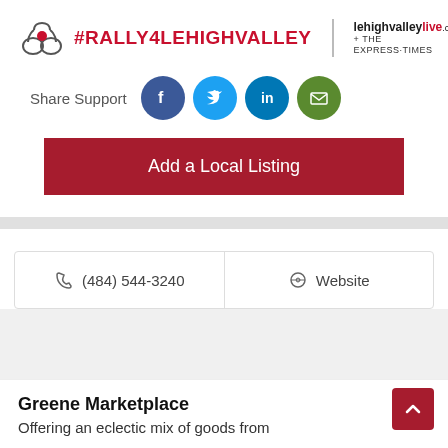[Figure (logo): Rally4LehighValley logo with hands icon and #RALLY4LEHIGHVALLEY hashtag text, alongside lehighvalleylive.com and The Express-Times branding]
Share Support
[Figure (infographic): Social media sharing icons: Facebook (blue), Twitter (light blue), LinkedIn (dark blue), Email (green)]
Add a Local Listing
(484) 544-3240
Website
Greene Marketplace
Offering an eclectic mix of goods from